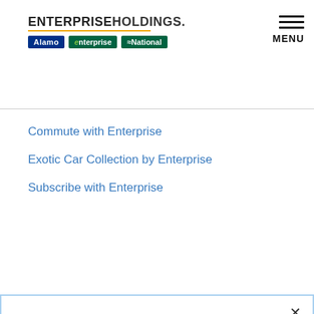[Figure (logo): Enterprise Holdings logo with Alamo, Enterprise, and National brand badges below, and a hamburger menu with MENU label on the right]
Commute with Enterprise
Exotic Car Collection by Enterprise
Subscribe with Enterprise
We use cookies and web beacons to collect information to remember your preferences, improve your experience and tailor advertisements relevant to you. You can change your cookie and AdChoices settings at any time.
Update Your Ad Choices
More Information
Manage Your Settings